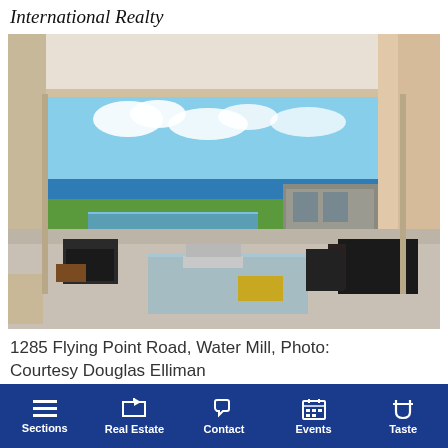International Realty
[Figure (photo): Interior photo of a luxury modern home at 1285 Flying Point Road, Water Mill. Wide open living area with glass walls retracted, revealing pool, green lawn, and ocean view. Black leather chairs and sofa, glass coffee table with books and yellow ottoman, concrete floors. Second building/guesthouse visible to the right.]
1285 Flying Point Road, Water Mill, Photo: Courtesy Douglas Elliman
Sections | Real Estate | Contact | Events | Taste